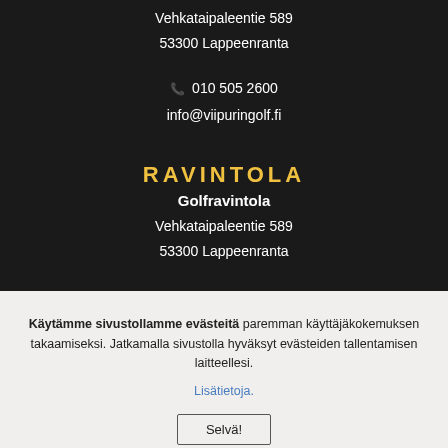Vehkataipaleentie 589
53300 Lappeenranta
📞 010 505 2600
info@viipuringolf.fi
RAVINTOLA
Golfravintola
Vehkataipaleentie 589
53300 Lappeenranta
Käytämme sivustollamme evästeitä paremman käyttäjäkokemuksen takaamiseksi. Jatkamalla sivustolla hyväksyt evästeiden tallentamisen laitteellesi.
Lisätietoja.
Selvä!